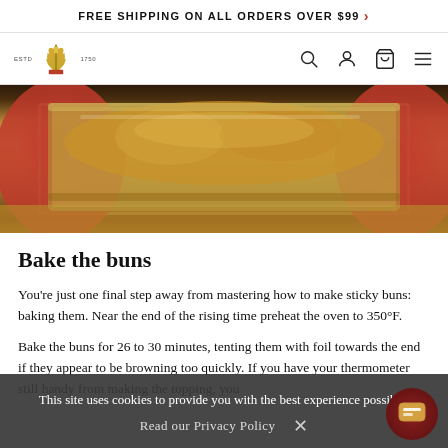FREE SHIPPING ON ALL ORDERS OVER $99 >
[Figure (logo): Brand logo with wheat/crown icon, ESTD 1750 text, and navigation icons (search, user, cart, menu)]
[Figure (photo): Photo of bread loaf in a baking pan, placed on a red circular surface on a wooden table]
Bake the buns
You're just one final step away from mastering how to make sticky buns: baking them. Near the end of the rising time preheat the oven to 350°F.
Bake the buns for 26 to 30 minutes, tenting them with foil towards the end if they appear to be browning too quickly. If you have your thermometer still handy from making the topping, you
This site uses cookies to provide you with the best experience possible.
Read our Privacy Policy  ✕